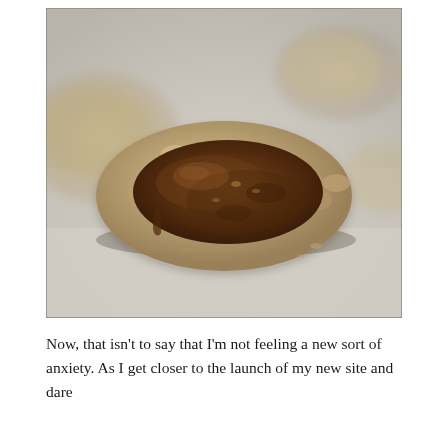[Figure (photo): Close-up photograph of a round oatmeal cookie with melted chocolate spread pooled on top, sitting on parchment paper. Additional blurred cookies are visible in the background.]
Now, that isn't to say that I'm not feeling a new sort of anxiety. As I get closer to the launch of my new site and dare